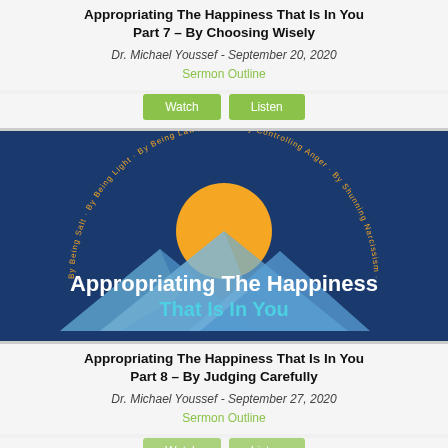Appropriating The Happiness That Is In You Part 7 – By Choosing Wisely
Dr. Michael Youssef - September 20, 2020
Sermon Outline
Watch | Listen
[Figure (illustration): Dark blue background image with orange sun over mountain peaks, circular arc text reading sermon series subtitles, and title text 'Appropriating The Happiness That Is In You']
Appropriating The Happiness That Is In You Part 8 – By Judging Carefully
Dr. Michael Youssef - September 27, 2020
Sermon Outline